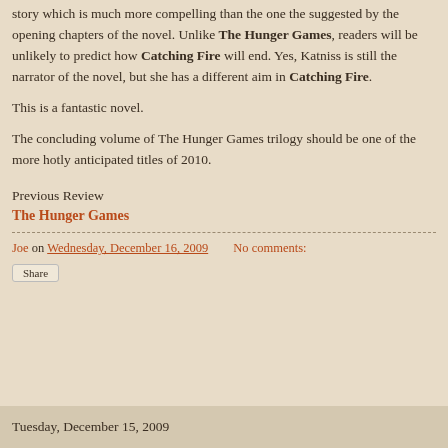story which is much more compelling than the one the suggested by the opening chapters of the novel. Unlike The Hunger Games, readers will be unlikely to predict how Catching Fire will end. Yes, Katniss is still the narrator of the novel, but she has a different aim in Catching Fire.
This is a fantastic novel.
The concluding volume of The Hunger Games trilogy should be one of the more hotly anticipated titles of 2010.
Previous Review
The Hunger Games
Joe on Wednesday, December 16, 2009    No comments:
Share
Tuesday, December 15, 2009